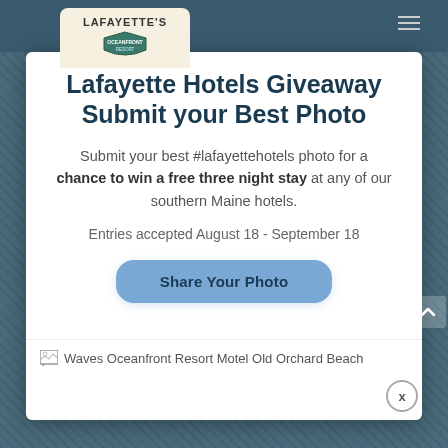[Figure (logo): Lafayette's Oceanfront Resort logo badge in tan/cream color at top left of screen]
Lafayette Hotels Giveaway Submit your Best Photo
Submit your best #lafayettehotels photo for a chance to win a free three night stay at any of our southern Maine hotels.
Entries accepted August 18 - September 18
Share Your Photo
[Figure (photo): Waves Oceanfront Resort Motel Old Orchard Beach — broken image placeholder with alt text]